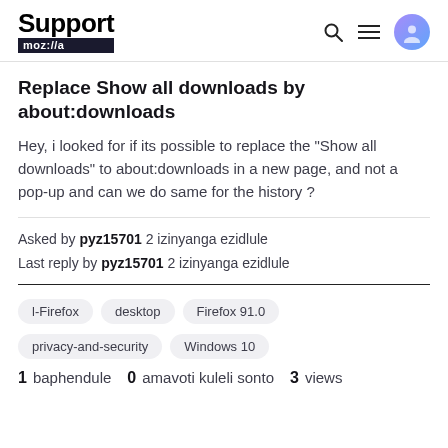Support moz://a
Replace Show all downloads by about:downloads
Hey, i looked for if its possible to replace the "Show all downloads" to about:downloads in a new page, and not a pop-up and can we do same for the history ?
Asked by pyz15701 2 izinyanga ezidlule
Last reply by pyz15701 2 izinyanga ezidlule
l-Firefox
desktop
Firefox 91.0
privacy-and-security
Windows 10
1 baphendule   0 amavoti kuleli sonto   3 views